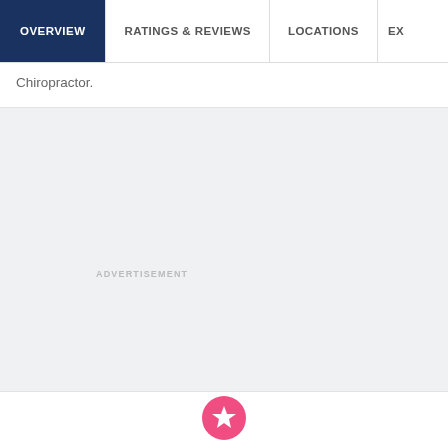OVERVIEW | RATINGS & REVIEWS | LOCATIONS | EX
Chiropractor.
ADVERTISEMENT
[Figure (logo): Pink circular icon with a star symbol, part of a rating/review badge at the bottom of the page]